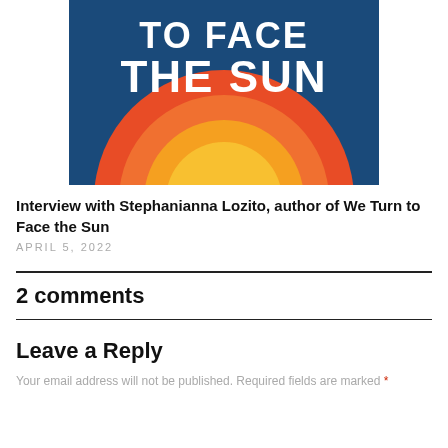[Figure (illustration): Book cover image for 'We Turn to Face the Sun' showing white bold text at top reading 'TO FACE THE SUN' on a blue background with a stylized sun graphic in orange and yellow gradient rising at the bottom center.]
Interview with Stephanianna Lozito, author of We Turn to Face the Sun
APRIL 5, 2022
2 comments
Leave a Reply
Your email address will not be published. Required fields are marked *